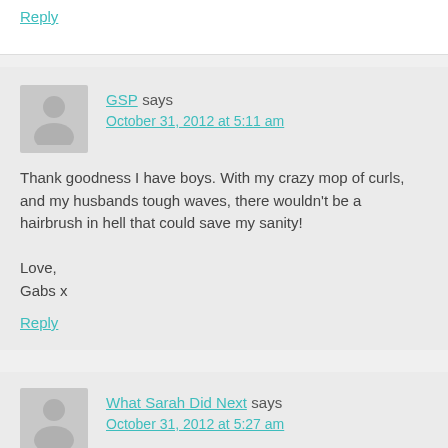Reply
GSP says
October 31, 2012 at 5:11 am
Thank goodness I have boys. With my crazy mop of curls, and my husbands tough waves, there wouldn't be a hairbrush in hell that could save my sanity!

Love,
Gabs x
Reply
What Sarah Did Next says
October 31, 2012 at 5:27 am